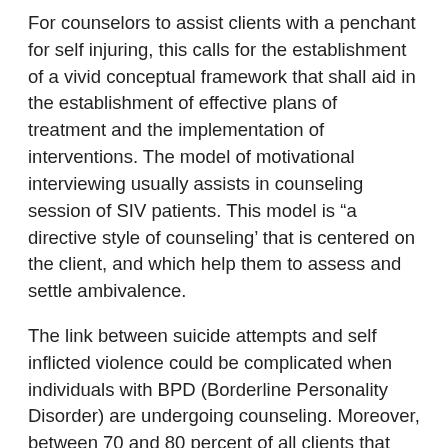For counselors to assist clients with a penchant for self injuring, this calls for the establishment of a vivid conceptual framework that shall aid in the establishment of effective plans of treatment and the implementation of interventions. The model of motivational interviewing usually assists in counseling session of SIV patients. This model is “a directive style of counseling’ that is centered on the client, and which help them to assess and settle ambivalence.
The link between suicide attempts and self inflicted violence could be complicated when individuals with BPD (Borderline Personality Disorder) are undergoing counseling. Moreover, between 70 and 80 percent of all clients that have been diagnosed with borderline personality disorder (BPD) have also been shown to engage in one form of self injury or another. SIV and suicide shares a complicated relationship.